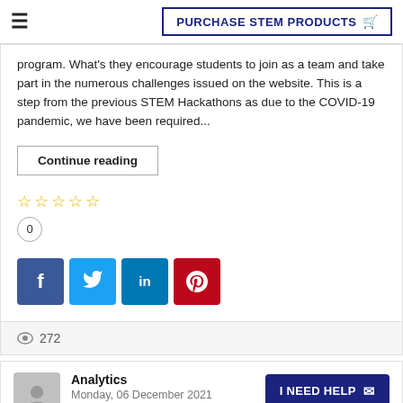≡  PURCHASE STEM PRODUCTS 🛒
program. What's they encourage students to join as a team and take part in the numerous challenges issued on the website. This is a step from the previous STEM Hackathons as due to the COVID-19 pandemic, we have been required...
Continue reading
☆ ☆ ☆ ☆ ☆
0
[Figure (other): Social share buttons: Facebook (f), Twitter (bird), LinkedIn (in), Pinterest (p)]
👁 272
Analytics
Monday, 06 December 2021
I NEED HELP ✉